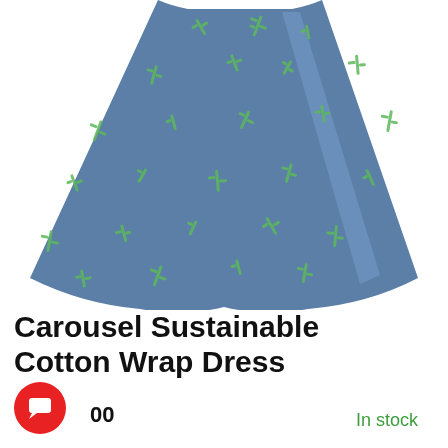[Figure (photo): A blue wrap dress with an all-over green cactus print pattern, showing the skirt/lower portion of the dress flared out, on a white background.]
Carousel Sustainable Cotton Wrap Dress
00
In stock